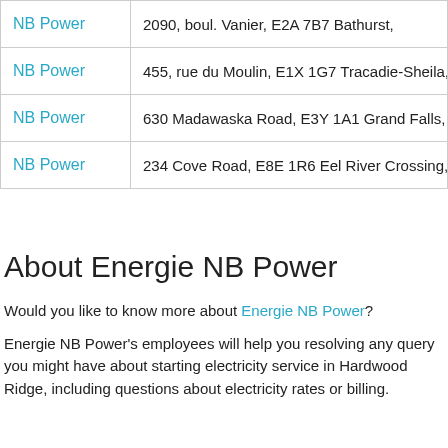| Brand | Address |
| --- | --- |
| NB Power | 2090, boul. Vanier, E2A 7B7 Bathurst, |
| NB Power | 455, rue du Moulin, E1X 1G7 Tracadie-Sheila, |
| NB Power | 630 Madawaska Road, E3Y 1A1 Grand Falls, |
| NB Power | 234 Cove Road, E8E 1R6 Eel River Crossing, |
About Energie NB Power
Would you like to know more about Energie NB Power?
Energie NB Power's employees will help you resolving any query you might have about starting electricity service in Hardwood Ridge, including questions about electricity rates or billing.